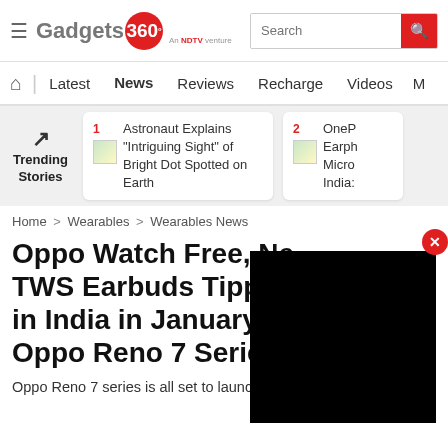Gadgets 360 - An NDTV venture
[Figure (screenshot): Gadgets 360 website header with logo, search box, navigation bar (Latest, News, Reviews, Recharge, Videos, M...), trending stories section with two cards: 1. Astronaut Explains "Intriguing Sight" of Bright Dot Spotted on Earth, 2. OnePlus Earphones/Micro/India...]
Home > Wearables > Wearables News
Oppo Watch Free, New TWS Earbuds Tipped to Launch in India in January Alongside Oppo Reno 7 Series
Oppo Reno 7 series is all set to launch in China on November 25.